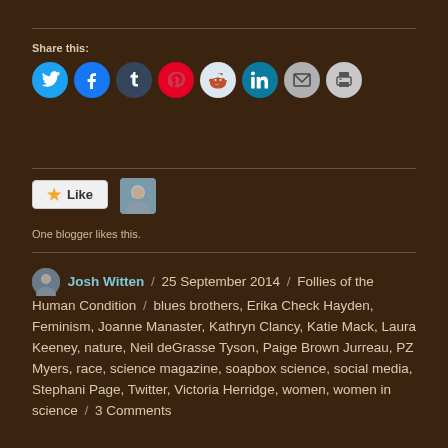Share this:
[Figure (infographic): Social media share buttons: Twitter, Facebook, Tumblr, Pinterest, Reddit, LinkedIn, Email, Print]
[Figure (infographic): Like button widget with star icon and blogger avatar photo. Text: One blogger likes this.]
One blogger likes this.
Josh Witten / 25 September 2014 / Follies of the Human Condition / blues brothers, Erika Check Hayden, Feminism, Joanne Manaster, Kathryn Clancy, Katie Mack, Laura Keeney, nature, Neil deGrasse Tyson, Paige Brown Jurreau, PZ Myers, race, science magazine, soapbox science, social media, Stephani Page, Twitter, Victoria Herridge, women, women in science / 3 Comments